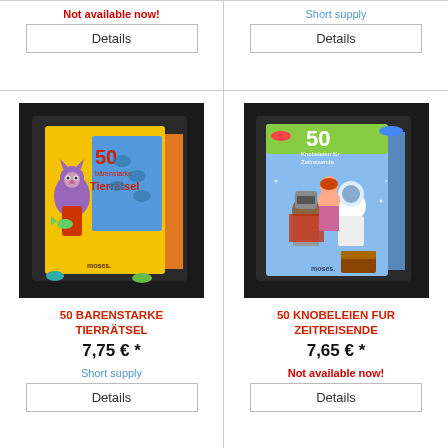Not available now!
Short supply
Details
Details
[Figure (photo): Product box for '50 Bärenstarke Tierrätsel' showing a cartoon cat holding a fish with animal silhouettes, yellow box, Moses publisher]
[Figure (photo): Product box for '50 Knobeleien für Zeitreisende' showing cartoon medieval knight, astronaut and girl on blue box, Moses publisher]
50 BARENSTARKE TIERRÄTSEL
50 KNOBELEIEN FUR ZEITREISENDE
7,75 € *
7,65 € *
Short supply
Not available now!
Details
Details